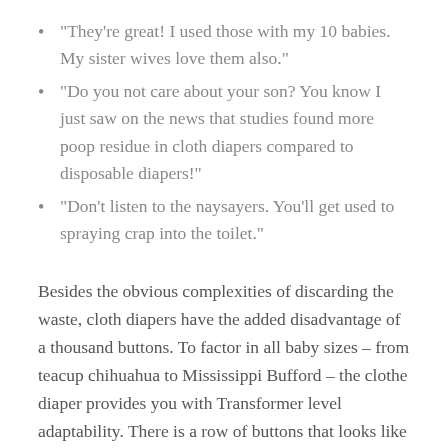“They’re great! I used those with my 10 babies. My sister wives love them also.”
“Do you not care about your son? You know I just saw on the news that studies found more poop residue in cloth diapers compared to disposable diapers!”
“Don’t listen to the naysayers. You’ll get used to spraying crap into the toilet.”
Besides the obvious complexities of discarding the waste, cloth diapers have the added disadvantage of a thousand buttons. To factor in all baby sizes – from teacup chihuahua to Mississippi Bufford – the clothe diaper provides you with Transformer level adaptability. There is a row of buttons that looks like a dominatrix, and there is an endless number of insertable pads...